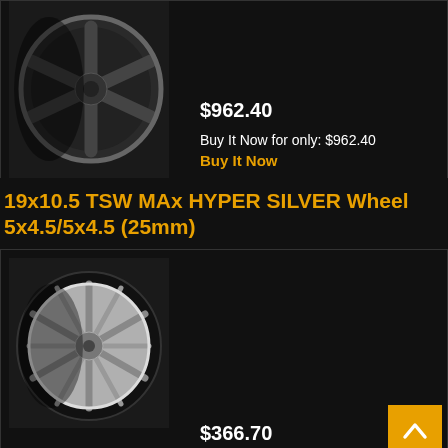[Figure (photo): Dark graphite multi-spoke alloy wheel photo (partial, top of page)]
$962.40
Buy It Now for only: $962.40
Buy It Now
19x10.5 TSW MAx HYPER SILVER Wheel 5x4.5/5x4.5 (25mm)
[Figure (photo): Hyper silver multi-spoke alloy wheel photo]
$366.70
Buy It Now for only: $366.70
Buy It Now